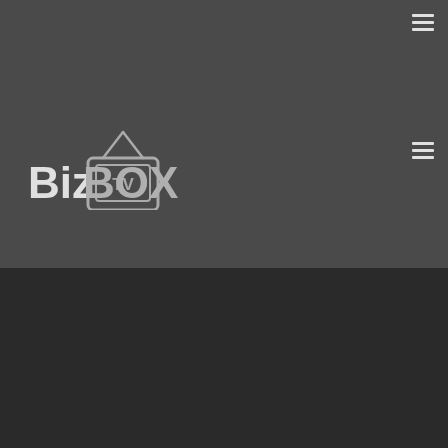BizBOX TV
[Figure (logo): BizBOX TV logo with television icon, white/light grey text on dark grey background]
Online Evolution: 2013 – The Year of Brand Advertising